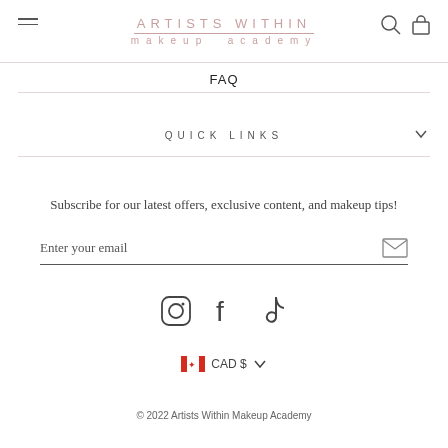ARTISTS WITHIN makeup academy
FAQ
QUICK LINKS
Subscribe for our latest offers, exclusive content, and makeup tips!
Enter your email
[Figure (illustration): Social media icons: Instagram, Facebook, TikTok]
CAD $
© 2022 Artists Within Makeup Academy